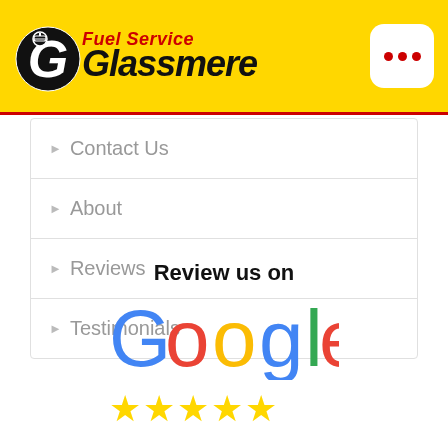[Figure (logo): Glassmere Fuel Service logo on yellow background with G emblem and three-dot menu button]
Contact Us
About
Reviews
Testimonials
Review us on
[Figure (logo): Google logo with five gold stars below it]